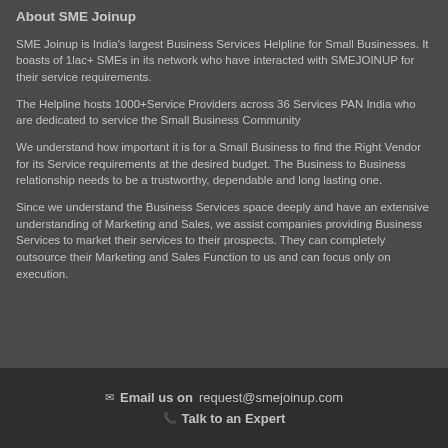About SME Joinup
SME Joinup is India's largest Business Services Helpline for Small Businesses. It boasts of 1lac+ SMEs in its network who have interacted with SMEJOINUP for their service requirements.
The Helpline hosts 1000+Service Providers across 36 Services PAN India who are dedicated to service the Small Business Community
We understand how important it is for a Small Business to find the Right Vendor for its Service requirements at the desired budget. The Business to Business relationship needs to be a trustworthy, dependable and long lasting one.
Since we understand the Business Services space deeply and have an extensive understanding of Marketing and Sales, we assist companies providing Business Services to market their services to their prospects. They can completely outsource their Marketing and Sales Function to us and can focus only on execution.
Email us on  request@smejoinup.com   Talk to an Expert